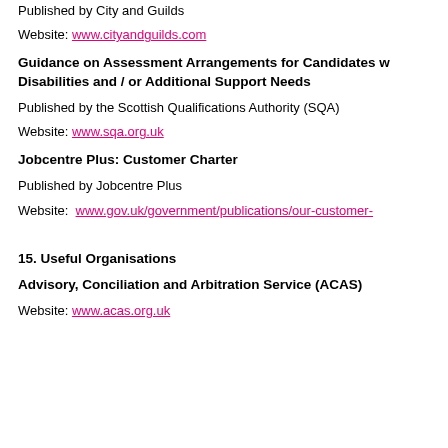Published by City and Guilds
Website: www.cityandguilds.com
Guidance on Assessment Arrangements for Candidates with Disabilities and / or Additional Support Needs
Published by the Scottish Qualifications Authority (SQA)
Website: www.sqa.org.uk
Jobcentre Plus: Customer Charter
Published by Jobcentre Plus
Website: www.gov.uk/government/publications/our-customer-
15. Useful Organisations
Advisory, Conciliation and Arbitration Service (ACAS)
Website: www.acas.org.uk